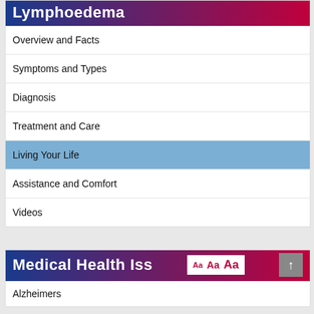Lymphoedema
Overview and Facts
Symptoms and Types
Diagnosis
Treatment and Care
Living Your Life
Assistance and Comfort
Videos
Medical Health Iss...
Alzheimers